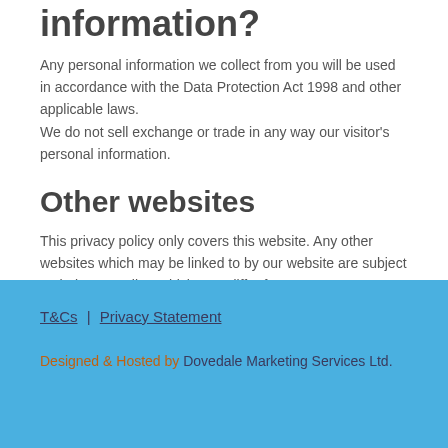information?
Any personal information we collect from you will be used in accordance with the Data Protection Act 1998 and other applicable laws.
We do not sell exchange or trade in any way our visitor's personal information.
Other websites
This privacy policy only covers this website. Any other websites which may be linked to by our website are subject to their own policy, which may differ from ours.
T&Cs | Privacy Statement
Designed & Hosted by Dovedale Marketing Services Ltd.